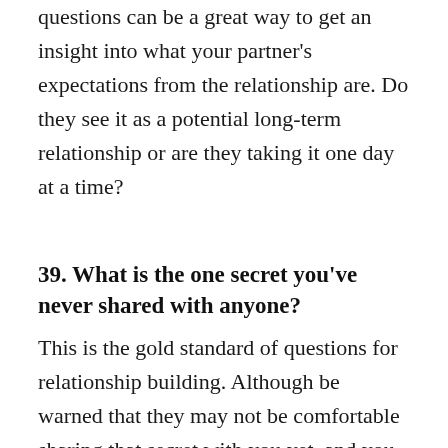questions can be a great way to get an insight into what your partner's expectations from the relationship are. Do they see it as a potential long-term relationship or are they taking it one day at a time?
39. What is the one secret you've never shared with anyone?
This is the gold standard of questions for relationship building. Although be warned that they may not be comfortable sharing that secret with you yet, and you shouldn't hold it against them or treat it as some kind of a statement on the strength of your relationship. But if they do